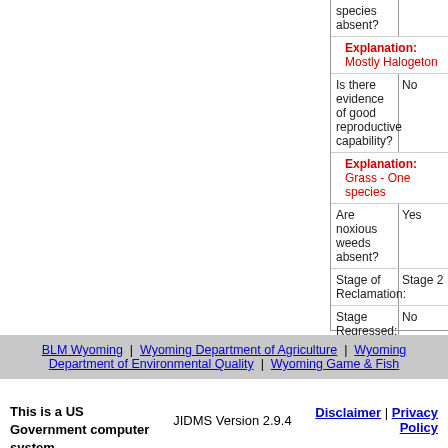| Question | Answer |
| --- | --- |
| species absent? |  |
| Explanation: | Mostly Halogeton |
| Is there evidence of good reproductive capability? | No |
| Explanation: | Grass - One species |
| Are noxious weeds absent? | Yes |
| Stage of Reclamation: | Stage 2 |
| Stage Regressed: | No |
BLM Wyoming | Wyoming Department of Agriculture | Wyoming Department of Environmental Quality | Wyoming Game & Fish
This is a US Government computer system.
JIDMS Version 2.9.4
Disclaimer | Privacy Policy